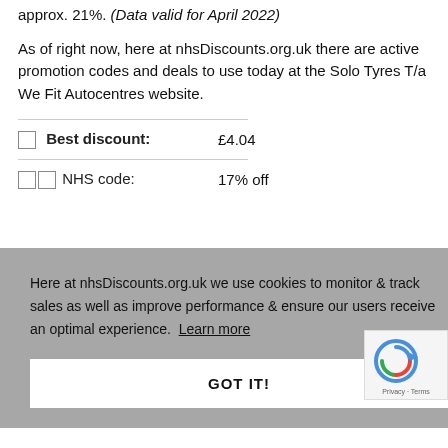approx. 21%. (Data valid for April 2022)
As of right now, here at nhsDiscounts.org.uk there are active promotion codes and deals to use today at the Solo Tyres T/a We Fit Autocentres website.
| [icon] Best discount: | £4.04 |
| [icon][icon] NHS code: | 17% off |
Here at nhsDiscounts.org.uk we use cookies to monitor & track sales as well as improve performance & ensure our users receive an optimal experience. Learn more
GOT IT!